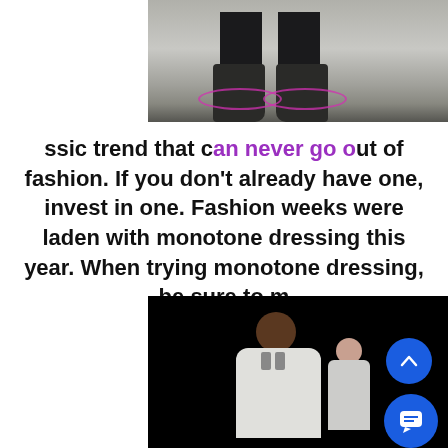[Figure (photo): Cropped photo of a person's legs wearing dark/black boots with dark pants on a light floor, with pink/magenta circular overlays on the ground near the feet.]
ssic trend that can never go out of fashion. If you don't already have one, invest in one. Fashion weeks were laden with monotone dressing this year. When trying monotone dressing, be sure to m
[Figure (photo): Photo of a male model on a dark/black background wearing a light-colored jacket, with a second model partially visible behind, and two blue circular UI buttons (scroll up and chat) overlaid on the right side.]